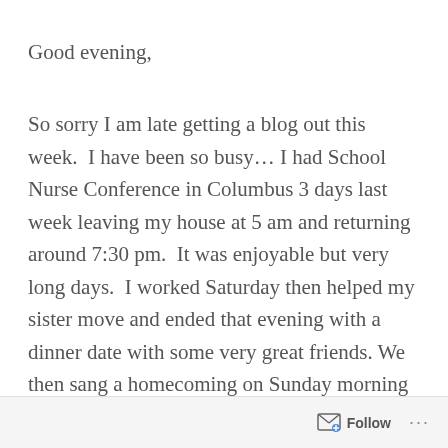Good evening,
So sorry I am late getting a blog out this week.  I have been so busy… I had School  Nurse Conference in Columbus 3 days last week leaving my house at 5 am and returning around 7:30 pm.  It was enjoyable but very long days.  I worked Saturday then helped my sister move and ended that evening with a dinner date with some very great friends. We then sang a homecoming on Sunday morning and afternoon.  Monday night we were privileged to sing at the 2nd annual “Giovanni’s Gospel Music Sing” in West Union.  That was like a enjoyable family reunion.  We had a busy week but a wonderful week
Follow ···